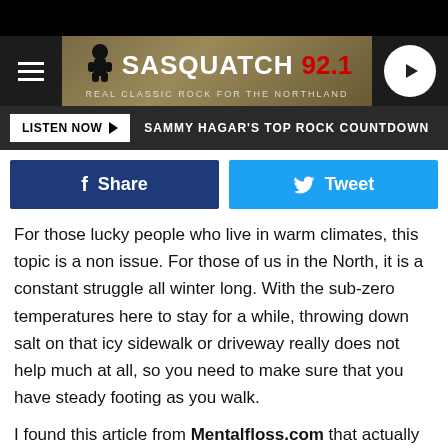[Figure (screenshot): Sasquatch 92.1 radio station website header with hamburger menu, logo, and play button]
LISTEN NOW ▶  SAMMY HAGAR'S TOP ROCK COUNTDOWN
[Figure (screenshot): Social share buttons: Facebook Share and Twitter Tweet]
For those lucky people who live in warm climates, this topic is a non issue. For those of us in the North, it is a constant struggle all winter long. With the sub-zero temperatures here to stay for a while, throwing down salt on that icy sidewalk or driveway really does not help much at all, so you need to make sure that you have steady footing as you walk.
I found this article from Mentalfloss.com that actually found 7 scientific theories on the best way to walk on ice. Hopefully these will help and keep you out of the E.R. this